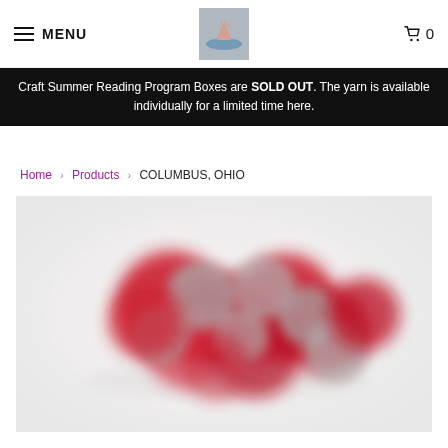MENU  [logo]  0
Craft Summer Reading Program Boxes are SOLD OUT. The yarn is available individually for a limited time here.
Home > Products > COLUMBUS, OHIO
[Figure (photo): A blurry close-up photo of red and grey yarn balls or fiber art pieces on a white background, showing a Columbus, Ohio themed product.]